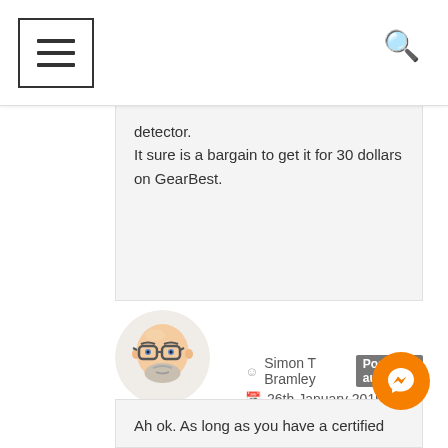Navigation bar with hamburger menu and search icon
detector.
It sure is a bargain to get it for 30 dollars on GearBest.
[Figure (illustration): Avatar illustration of a bald man with glasses and a beard]
Simon T Bramley  Post author
26th January 2019 at 4:32 pm
Permalink
Ah ok. As long as you have a certified